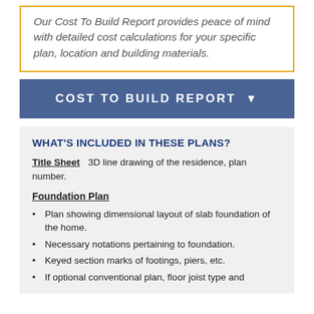Our Cost To Build Report provides peace of mind with detailed cost calculations for your specific plan, location and building materials.
COST TO BUILD REPORT
WHAT'S INCLUDED IN THESE PLANS?
Title Sheet    3D line drawing of the residence, plan number.
Foundation Plan
Plan showing dimensional layout of slab foundation of the home.
Necessary notations pertaining to foundation.
Keyed section marks of footings, piers, etc.
If optional conventional plan, floor joist type and